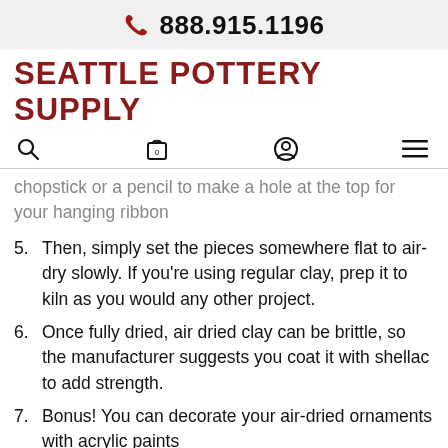888.915.1196
SEATTLE POTTERY SUPPLY
chopstick or a pencil to make a hole at the top for your hanging ribbon
5. Then, simply set the pieces somewhere flat to air-dry slowly. If you're using regular clay, prep it to kiln as you would any other project.
6. Once fully dried, air dried clay can be brittle, so the manufacturer suggests you coat it with shellac to add strength.
7. Bonus! You can decorate your air-dried ornaments with acrylic paints
8. Finally: add a ribbon or string to your finished ornament to hang it up!